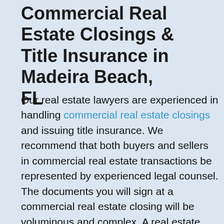Commercial Real Estate Closings & Title Insurance in Madeira Beach, FL
Our real estate lawyers are experienced in handling commercial real estate closings and issuing title insurance. We recommend that both buyers and sellers in commercial real estate transactions be represented by experienced legal counsel. The documents you will sign at a commercial real estate closing will be voluminous and complex. A real estate lawyer will have the ability to explain each document to you so that you understand the obligations you are undertaking. Generally, the seller of commercial real estate is the party that chooses which entity will handle the closing. We always recommend that you engage a law firm to